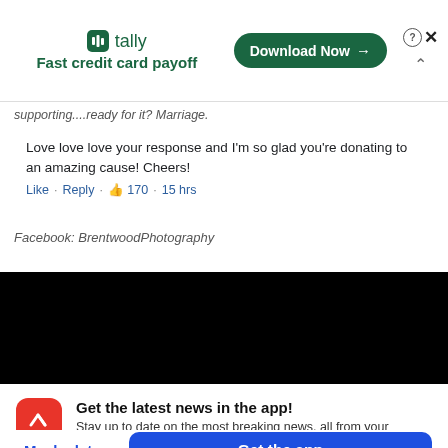[Figure (screenshot): Tally app advertisement banner with logo, tagline 'Fast credit card payoff', and 'Download Now' button]
supporting....ready for it? Marriage.
Love love love your response and I'm so glad you're donating to an amazing cause! Cheers!
Like · Reply · 👍 170 · 15 hrs
Facebook: BrentwoodPhotography
[Figure (screenshot): Black video player area]
Get the latest news in the app! Stay up to date on the most breaking news, all from your BuzzFeed app.
Maybe later
Get the app